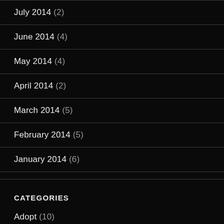July 2014 (2)
June 2014 (4)
May 2014 (4)
April 2014 (2)
March 2014 (5)
February 2014 (5)
January 2014 (6)
CATEGORIES
Adopt (10)